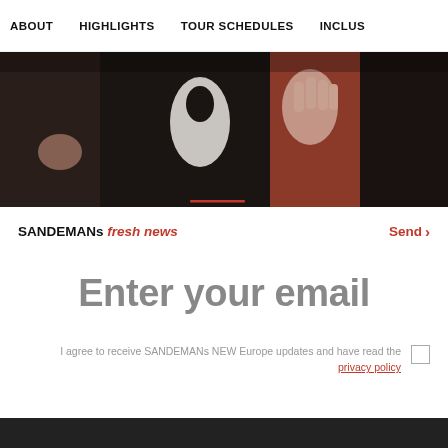ABOUT  HIGHLIGHTS  TOUR SCHEDULES  INCLUS
[Figure (photo): Crowd of people at a tour or event, hands raised, dark clothing, red accents visible.]
SANDEMANs fresh news   Send >
Enter your email
I agree to receive SANDEMANs NEW Europe updates and have read the privacy policy